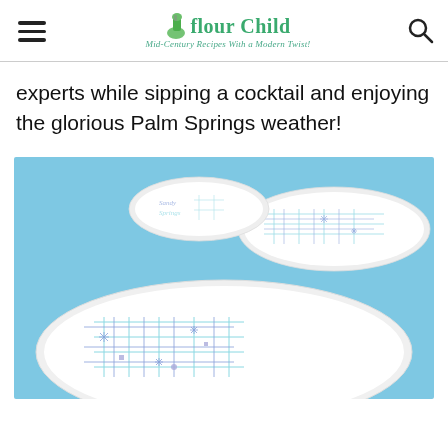Flour Child — Mid-Century Recipes With a Modern Twist!
experts while sipping a cocktail and enjoying the glorious Palm Springs weather!
[Figure (photo): Three white oval/round plates with mid-century modern atomic starburst and grid line designs in blue and teal, arranged on a light blue cloth background. The large plate in the foreground shows the geometric pattern most clearly, with two smaller plates behind it.]